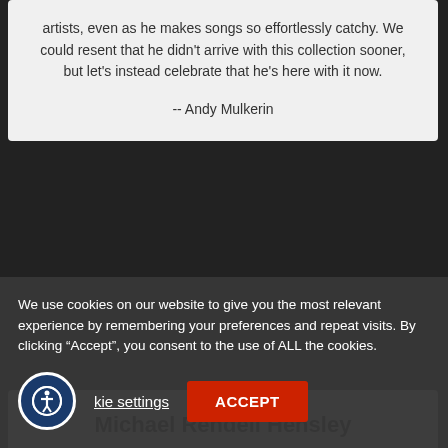artists, even as he makes songs so effortlessly catchy. We could resent that he didn't arrive with this collection sooner, but let's instead celebrate that he's here with it now.

-- Andy Mulkerin
Michael Rendell Hensley
[Figure (illustration): Broken image placeholder icon]
We use cookies on our website to give you the most relevant experience by remembering your preferences and repeat visits. By clicking “Accept”, you consent to the use of ALL the cookies.
Cookie settings  ACCEPT